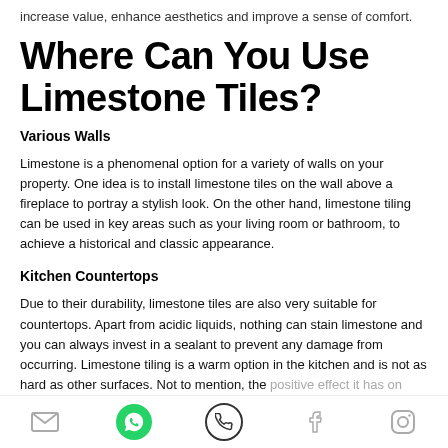increase value, enhance aesthetics and improve a sense of comfort.
Where Can You Use Limestone Tiles?
Various Walls
Limestone is a phenomenal option for a variety of walls on your property. One idea is to install limestone tiles on the wall above a fireplace to portray a stylish look. On the other hand, limestone tiling can be used in key areas such as your living room or bathroom, to achieve a historical and classic appearance.
Kitchen Countertops
Due to their durability, limestone tiles are also very suitable for countertops. Apart from acidic liquids, nothing can stain limestone and you can always invest in a sealant to prevent any damage from occurring. Limestone tiling is a warm option in the kitchen and is not as hard as other surfaces. Not to mention, the positive effect it has on your kitchen's beauty.
[social icons: email, whatsapp, phone, facebook, instagram]